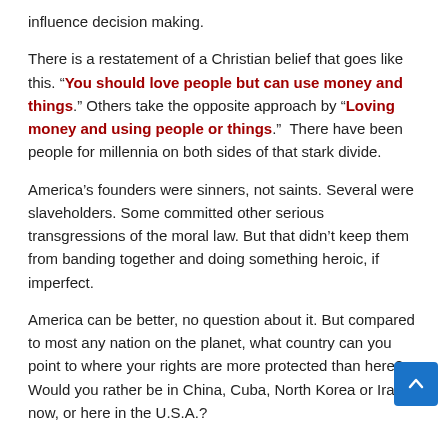influence decision making.
There is a restatement of a Christian belief that goes like this. "You should love people but can use money and things." Others take the opposite approach by "Loving money and using people or things."  There have been people for millennia on both sides of that stark divide.
America’s founders were sinners, not saints. Several were slaveholders. Some committed other serious transgressions of the moral law. But that didn’t keep them from banding together and doing something heroic, if imperfect.
America can be better, no question about it. But compared to most any nation on the planet, what country can you point to where your rights are more protected than here? Would you rather be in China, Cuba, North Korea or Iran now, or here in the U.S.A.?